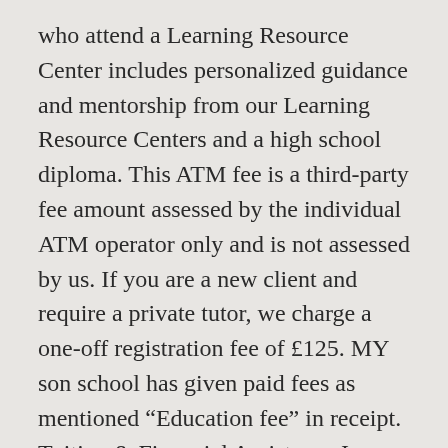who attend a Learning Resource Center includes personalized guidance and mentorship from our Learning Resource Centers and a high school diploma. This ATM fee is a third-party fee amount assessed by the individual ATM operator only and is not assessed by us. If you are a new client and require a private tutor, we charge a one-off registration fee of £125. MY son school has given paid fees as mentioned “Education fee” in receipt. Tuition & Financial Assistance In an effort to maintain transparency regarding the actual cost of attending Pathway, our tuition is designed to be all-inclusive. 1. Pre-K & Learning Center Tuition & Fees. G11. Utility Navigation. Up Ro...